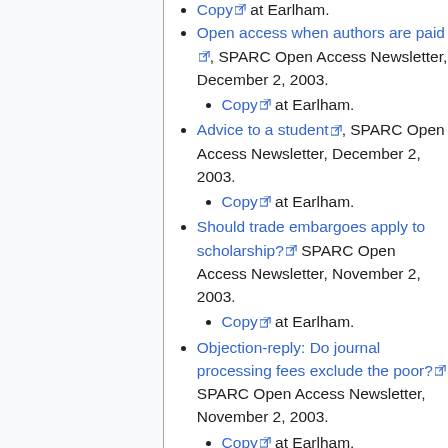Copy at Earlham.
Open access when authors are paid, SPARC Open Access Newsletter, December 2, 2003.
Copy at Earlham.
Advice to a student, SPARC Open Access Newsletter, December 2, 2003.
Copy at Earlham.
Should trade embargoes apply to scholarship? SPARC Open Access Newsletter, November 2, 2003.
Copy at Earlham.
Objection-reply: Do journal processing fees exclude the poor? SPARC Open Access Newsletter, November 2, 2003.
Copy at Earlham.
Also see the shorter but related